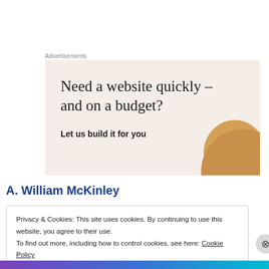Advertisements
[Figure (illustration): Advertisement banner with beige/cream background. Large serif text reads 'Need a website quickly – and on a budget?' with subtext 'Let us build it for you'. A circular image of an object appears in the bottom-right corner.]
A. William McKinley
Privacy & Cookies: This site uses cookies. By continuing to use this website, you agree to their use.
To find out more, including how to control cookies, see here: Cookie Policy
Close and accept